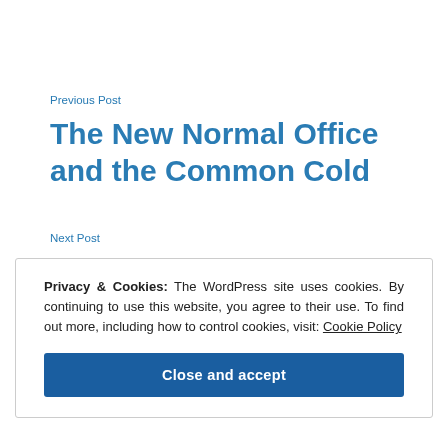Previous Post
The New Normal Office and the Common Cold
Next Post
Privacy & Cookies: The WordPress site uses cookies. By continuing to use this website, you agree to their use. To find out more, including how to control cookies, visit: Cookie Policy
Close and accept